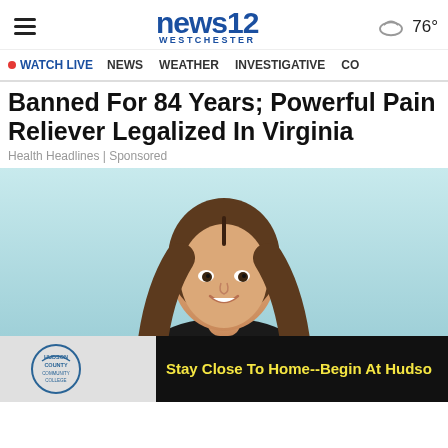news12 WESTCHESTER | 76°
• WATCH LIVE  NEWS  WEATHER  INVESTIGATIVE  CO
Banned For 84 Years; Powerful Pain Reliever Legalized In Virginia
Health Headlines | Sponsored
[Figure (photo): Young smiling woman with long brown hair against a light teal/blue background]
Stay Close To Home--Begin At Hudso